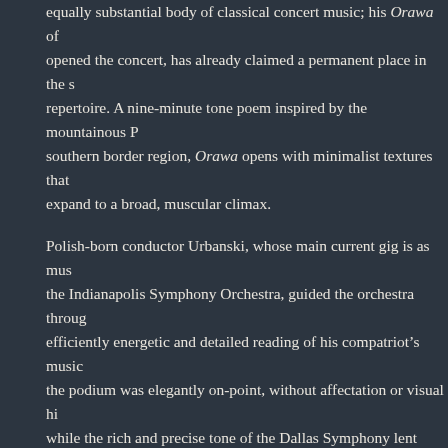equally substantial body of classical concert music; his Orawa of opened the concert, has already claimed a permanent place in the s repertoire. A nine-minute tone poem inspired by the mountainous P southern border region, Orawa opens with minimalist textures that expand to a broad, muscular climax.
Polish-born conductor Urbanski, whose main current gig is as mus the Indianapolis Symphony Orchestra, guided the orchestra through efficiently energetic and detailed reading of his compatriot's music the podium was elegantly on-point, without affectation or visual hi while the rich and precise tone of the Dallas Symphony lent itself w Kilar's sonorous harmonics.
The second item on the program, Chopin's Piano Concerto No. 2, i glitteringly pretty but ultimately second-rate work by a first-rank ce central Larghetto offering glimpses of Chopin's mature genius is fl outer movements wallowing in showy scales and passage-work. It that Chopin, though gifted with a miraculous knack for piano sono wasn't interested in orchestration. The result is a fairly mundane ba